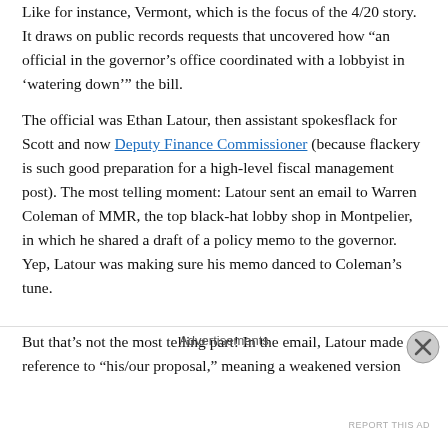Like for instance, Vermont, which is the focus of the 4/20 story. It draws on public records requests that uncovered how "an official in the governor's office coordinated with a lobbyist in 'watering down'" the bill.
The official was Ethan Latour, then assistant spokesflack for Scott and now Deputy Finance Commissioner (because flackery is such good preparation for a high-level fiscal management post). The most telling moment: Latour sent an email to Warren Coleman of MMR, the top black-hat lobby shop in Montpelier, in which he shared a draft of a policy memo to the governor. Yep, Latour was making sure his memo danced to Coleman's tune.
But that’s not the most telling part! In the email, Latour made reference to “his/our proposal,” meaning a weakened version
Advertisements
REPORT THIS AD